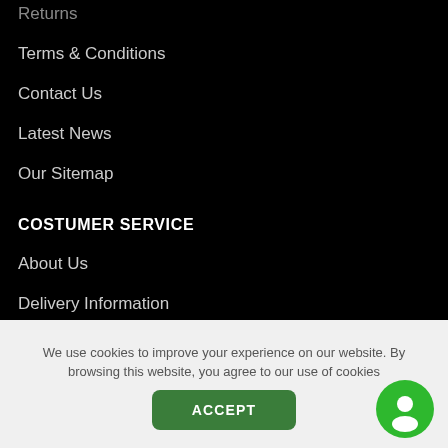Returns
Terms & Conditions
Contact Us
Latest News
Our Sitemap
COSTUMER SERVICE
About Us
Delivery Information
Privacy Policy
We use cookies to improve your experience on our website. By browsing this website, you agree to our use of cookies
ACCEPT